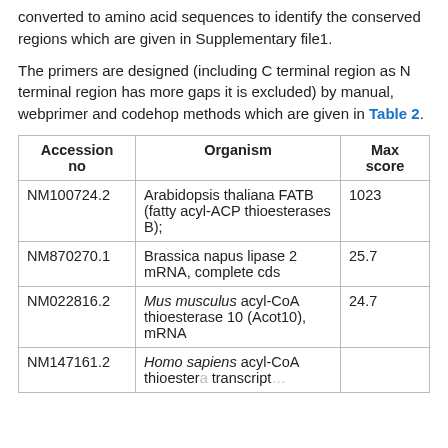converted to amino acid sequences to identify the conserved regions which are given in Supplementary file1.
The primers are designed (including C terminal region as N terminal region has more gaps it is excluded) by manual, webprimer and codehop methods which are given in Table 2.
| Accession no | Organism | Max score |
| --- | --- | --- |
| NM100724.2 | Arabidopsis thaliana FATB (fatty acyl-ACP thioesterases B); | 1023 |
| NM870270.1 | Brassica napus lipase 2 mRNA, complete cds | 25.7 |
| NM022816.2 | Mus musculus acyl-CoA thioesterase 10 (Acot10), mRNA | 24.7 |
| NM147161.2 | Homo sapiens acyl-CoA thioesterase [partial text] |  |